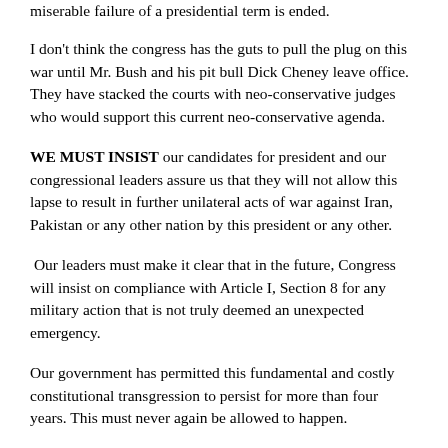miserable failure of a presidential term is ended.
I don't think the congress has the guts to pull the plug on this war until Mr. Bush and his pit bull Dick Cheney leave office. They have stacked the courts with neo-conservative judges who would support this current neo-conservative agenda.
WE MUST INSIST our candidates for president and our congressional leaders assure us that they will not allow this lapse to result in further unilateral acts of war against Iran, Pakistan or any other nation by this president or any other.
Our leaders must make it clear that in the future, Congress will insist on compliance with Article I, Section 8 for any military action that is not truly deemed an unexpected emergency.
Our government has permitted this fundamental and costly constitutional transgression to persist for more than four years. This must never again be allowed to happen.
We must now demand that Congress, the courts and the president, now and in the future recommit to strict adherence to the rule of law and to the Constitution,